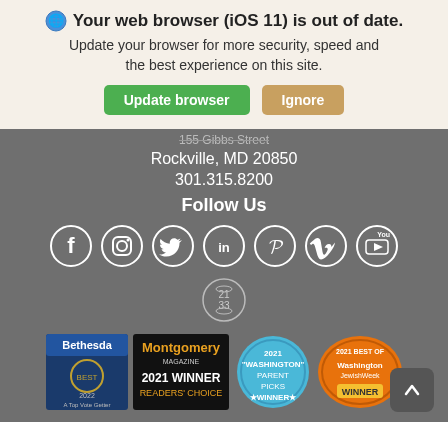🌐 Your web browser (iOS 11) is out of date. Update your browser for more security, speed and the best experience on this site.
Update browser | Ignore
155 Gibbs Street
Rockville, MD 20850
301.315.8200
Follow Us
[Figure (other): Social media icons: Facebook, Instagram, Twitter, LinkedIn, Pinterest, Vimeo, YouTube, and a badge icon]
[Figure (other): Award badges: Bethesda Magazine 2022 Top Vote Getter, Montgomery Magazine 2021 Winner Readers Choice, 2021 Washington Parent Picks Winner, 2021 Best of Washington Jewish Week Winner]